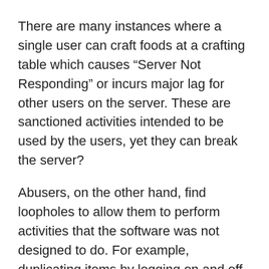There are many instances where a single user can craft foods at a crafting table which causes “Server Not Responding” or incurs major lag for other users on the server. These are sanctioned activities intended to be used by the users, yet they can break the server?
Abusers, on the other hand, find loopholes to allow them to perform activities that the software was not designed to do. For example, duplicating items by logging on and off in very unusual ways… ways in which the developer didn’t test or consider during the design phase.
Right now, Bethesda is chasing down these unintentional holes at all costs… and by that I mean, by introducing game breaking bugs that affect standard users who are not abusing. And, they’re attempting to fix these holes at the cost of ignoring the design failings of the game that